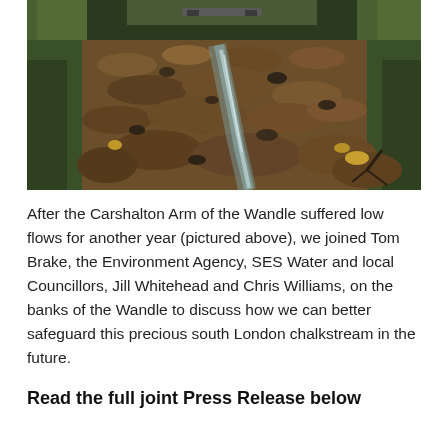[Figure (photo): A dry or low-flow riverbed of the Carshalton Arm of the Wandle, covered in fallen autumn leaves and small stones, with a narrow trickle of water visible, flanked by green vegetation on the banks.]
After the Carshalton Arm of the Wandle suffered low flows for another year (pictured above), we joined Tom Brake, the Environment Agency, SES Water and local Councillors, Jill Whitehead and Chris Williams, on the banks of the Wandle to discuss how we can better safeguard this precious south London chalkstream in the future.
Read the full joint Press Release below